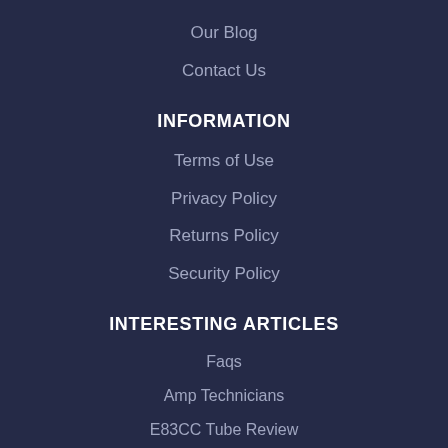Our Blog
Contact Us
INFORMATION
Terms of Use
Privacy Policy
Returns Policy
Security Policy
INTERESTING ARTICLES
Faqs
Amp Technicians
E83CC Tube Review
The New EH 7025
Guitar Output Transformers
Guitar Power Transformer
Guitar Chokes